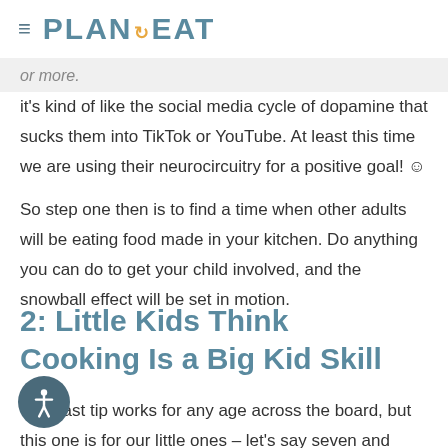PLAN TO EAT
...or more.
it's kind of like the social media cycle of dopamine that sucks them into TikTok or YouTube. At least this time we are using their neurocircuitry for a positive goal! ☺
So step one then is to find a time when other adults will be eating food made in your kitchen. Do anything you can do to get your child involved, and the snowball effect will be set in motion.
2: Little Kids Think Cooking Is a Big Kid Skill
That last tip works for any age across the board, but this one is for our little ones – let's say seven and